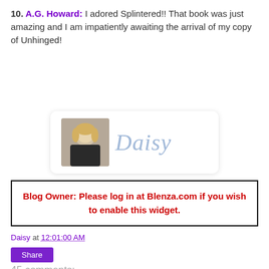10. A.G. Howard: I adored Splintered!! That book was just amazing and I am impatiently awaiting the arrival of my copy of Unhinged!
[Figure (other): Signature card with a photo of a blonde woman and cursive text reading 'Daisy']
Blog Owner: Please log in at Blenza.com if you wish to enable this widget.
Daisy at 12:01:00 AM
Share
45 comments: